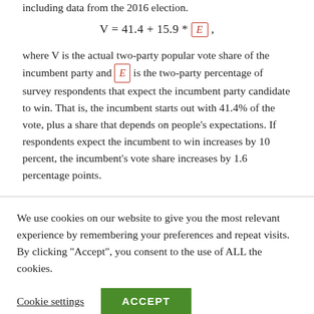including data from the 2016 election.
where V is the actual two-party popular vote share of the incumbent party and E is the two-party percentage of survey respondents that expect the incumbent party candidate to win. That is, the incumbent starts out with 41.4% of the vote, plus a share that depends on people’s expectations. If respondents expect the incumbent to win increases by 10 percent, the incumbent’s vote share increases by 1.6 percentage points.
We use cookies on our website to give you the most relevant experience by remembering your preferences and repeat visits. By clicking “Accept”, you consent to the use of ALL the cookies.
Cookie settings  ACCEPT